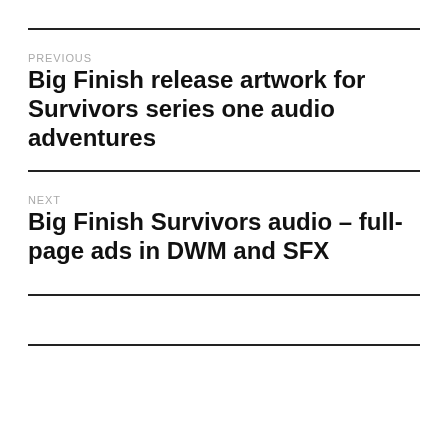PREVIOUS
Big Finish release artwork for Survivors series one audio adventures
NEXT
Big Finish Survivors audio – full-page ads in DWM and SFX